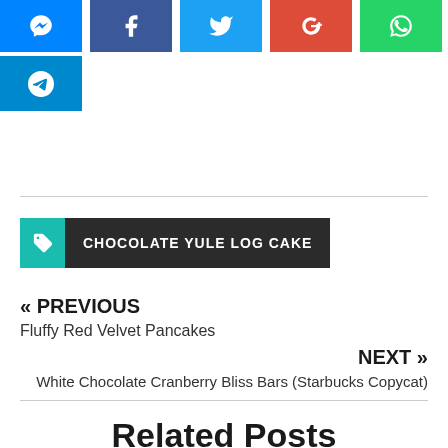[Figure (other): Social share buttons row: Messenger (blue), Facebook (dark blue), Twitter (light blue), Google+ (red), WhatsApp (green), and Telegram (blue) below]
CHOCOLATE YULE LOG CAKE
« PREVIOUS
Fluffy Red Velvet Pancakes
NEXT »
White Chocolate Cranberry Bliss Bars (Starbucks Copycat)
Related Posts